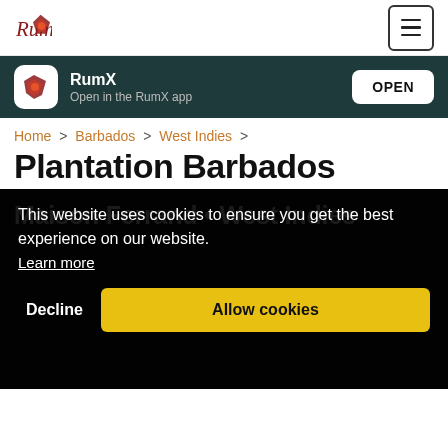RumX
RumX
Open in the RumX app
OPEN
Home > Barbados > West Indies >
Plantation Barbados
Maison Ferrand • West Indies
This website uses cookies to ensure you get the best experience on our website.
Learn more
Decline
Allow cookies